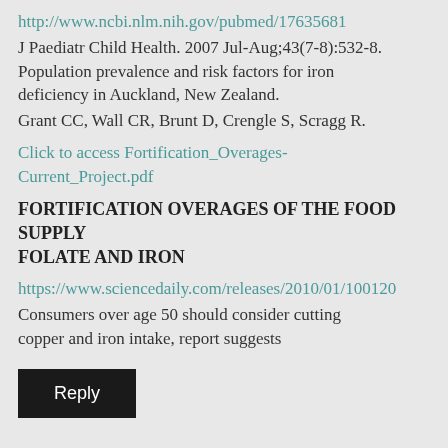http://www.ncbi.nlm.nih.gov/pubmed/17635681
J Paediatr Child Health. 2007 Jul-Aug;43(7-8):532-8. Population prevalence and risk factors for iron deficiency in Auckland, New Zealand.
Grant CC, Wall CR, Brunt D, Crengle S, Scragg R.
Click to access Fortification_Overages-Current_Project.pdf
FORTIFICATION OVERAGES OF THE FOOD SUPPLY FOLATE AND IRON
https://www.sciencedaily.com/releases/2010/01/100120
Consumers over age 50 should consider cutting copper and iron intake, report suggests
Reply